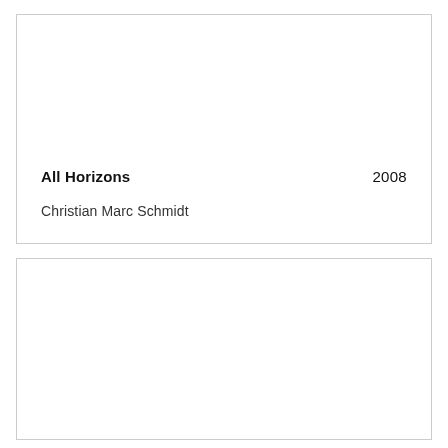All Horizons
2008
Christian Marc Schmidt